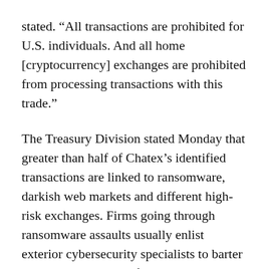stated. “All transactions are prohibited for U.S. individuals. And all home [cryptocurrency] exchanges are prohibited from processing transactions with this trade.”
The Treasury Division stated Monday that greater than half of Chatex’s identified transactions are linked to ransomware, darkish web markets and different high-risk exchanges. Firms going through ransomware assaults usually enlist exterior cybersecurity specialists to barter with hackers and verify whether or not they or the crypto infrastructure they use have been blacklisted by the U.S. authorities. The Treasury Division has urged companies to report such calls for and warned that those who pay sanctioned entities equivalent to Chatex could face stiff penalties.
Chatex didn’t instantly reply to requests for remark